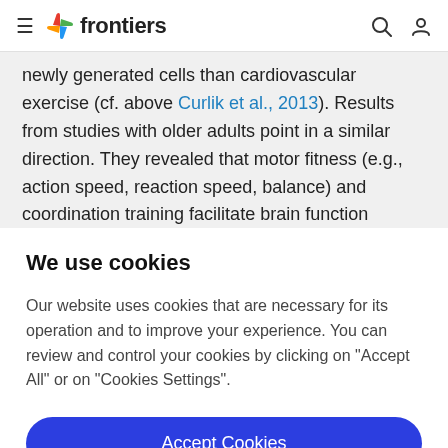frontiers
newly generated cells than cardiovascular exercise (cf. above Curlik et al., 2013). Results from studies with older adults point in a similar direction. They revealed that motor fitness (e.g., action speed, reaction speed, balance) and coordination training facilitate brain function
We use cookies
Our website uses cookies that are necessary for its operation and to improve your experience. You can review and control your cookies by clicking on "Accept All" or on "Cookies Settings".
Accept Cookies
Cookies Settings